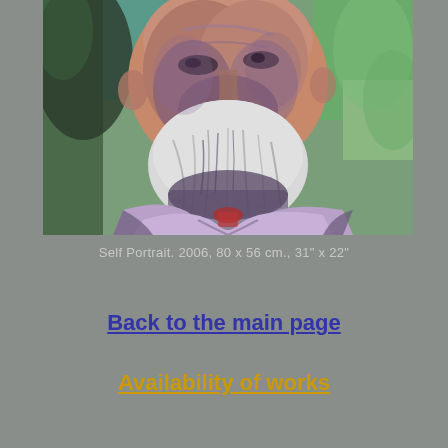[Figure (illustration): A painting of an elderly bearded man — a self portrait with expressive brushwork, showing the face and upper torso. The palette includes purples, greens, pinks, and whites. The background is greenish. The beard is white/grey and the clothing is pale purple/lavender.]
Self Portrait. 2006, 80 x 56 cm., 31" x 22"
Back to the main page
Availability of works